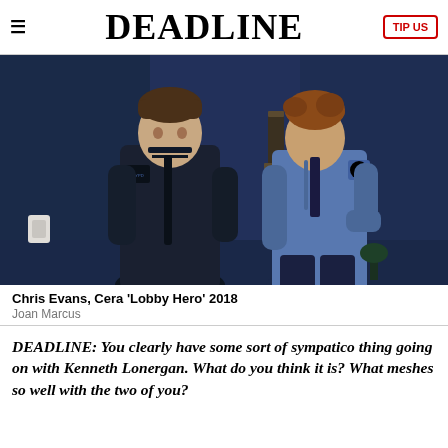DEADLINE | TIP US
[Figure (photo): Two men in police uniforms facing each other on a stage set. The man on the left wears a dark NYPD-style jacket, the man on the right wears a lighter blue police uniform shirt.]
Chris Evans, Cera 'Lobby Hero' 2018
Joan Marcus
DEADLINE: You clearly have some sort of sympatico thing going on with Kenneth Lonergan. What do you think it is? What meshes so well with the two of you?